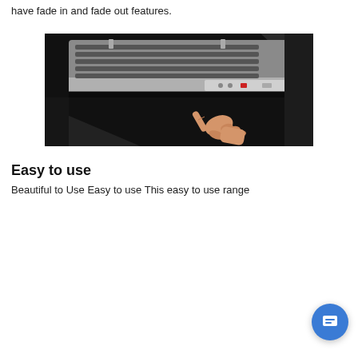have fade in and fade out features.
[Figure (photo): A hand pressing a button on the control panel of a stainless steel range hood against a dark background. The range hood has horizontal ventilation slats and touch controls.]
Easy to use
Beautiful to Use Easy to use This easy to use range